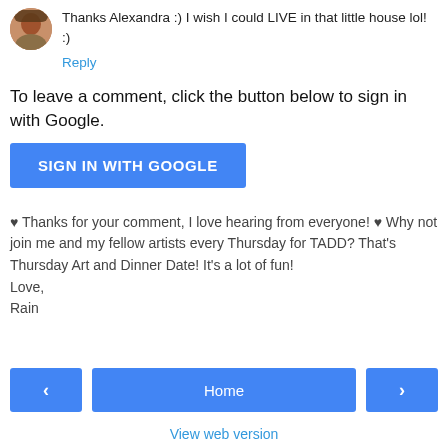Thanks Alexandra :) I wish I could LIVE in that little house lol! :)
Reply
To leave a comment, click the button below to sign in with Google.
SIGN IN WITH GOOGLE
❤ Thanks for your comment, I love hearing from everyone! ❤ Why not join me and my fellow artists every Thursday for TADD? That's Thursday Art and Dinner Date! It's a lot of fun!
Love,
Rain
‹
Home
›
View web version